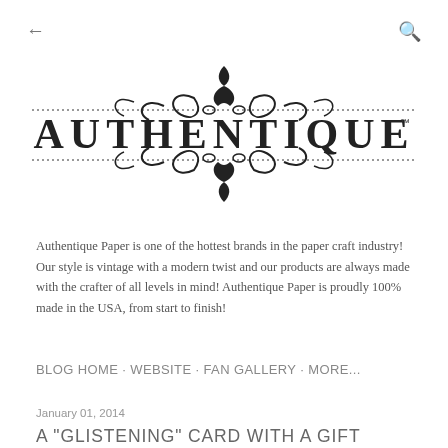[Figure (logo): Authentique Paper brand logo with ornate decorative scrollwork and dotted border lines above and below the company name]
Authentique Paper is one of the hottest brands in the paper craft industry! Our style is vintage with a modern twist and our products are always made with the crafter of all levels in mind! Authentique Paper is proudly 100% made in the USA, from start to finish!
BLOG HOME · WEBSITE · FAN GALLERY · MORE...
January 01, 2014
A "GLISTENING" CARD WITH A GIFT